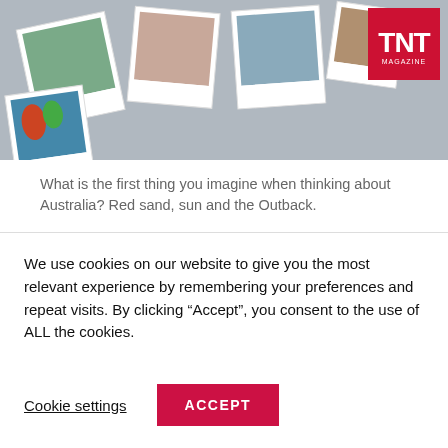[Figure (photo): Collage of polaroid-style travel photos with a TNT Magazine logo in red on the top right]
What is the first thing you imagine when thinking about Australia? Red sand, sun and the Outback.
That's why we, a group of 10 students, mostly exchange students from Europe, decided to explore the Australian Outback after weeks of civilised Sydney. We flew up to Darwin, rented two 4WDs and headed off for some adventure.
We use cookies on our website to give you the most relevant experience by remembering your preferences and repeat visits. By clicking “Accept”, you consent to the use of ALL the cookies.
Cookie settings
ACCEPT